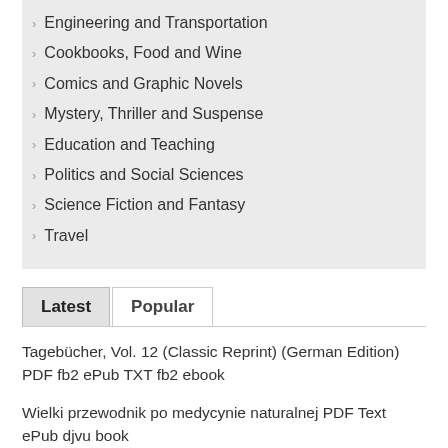Engineering and Transportation
Cookbooks, Food and Wine
Comics and Graphic Novels
Mystery, Thriller and Suspense
Education and Teaching
Politics and Social Sciences
Science Fiction and Fantasy
Travel
Latest	Popular
Tagebücher, Vol. 12 (Classic Reprint) (German Edition) PDF fb2 ePub TXT fb2 ebook
Wielki przewodnik po medycynie naturalnej PDF Text ePub djvu book
The American Flower Garden(illustrated Edition) (Dodo Press) PDF fb2 ePub TXT fb2 ebook